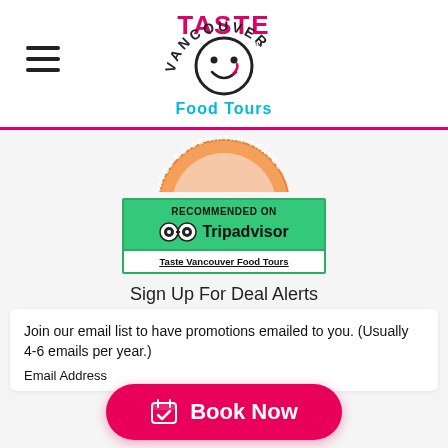Taste Vancouver Food Tours
[Figure (logo): Taste Vancouver Food Tours logo with smiley face and chili pepper, pink and dark text]
[Figure (illustration): Partial orange circular badge with text TRAVEL GUIDE KAYAK TRAVEL around the rim]
[Figure (other): Tripadvisor recommended badge on green background with owl eyes logo and link text Taste Vancouver Food Tours]
Sign Up For Deal Alerts
Join our email list to have promotions emailed to you. (Usually 4-6 emails per year.)
Email Address